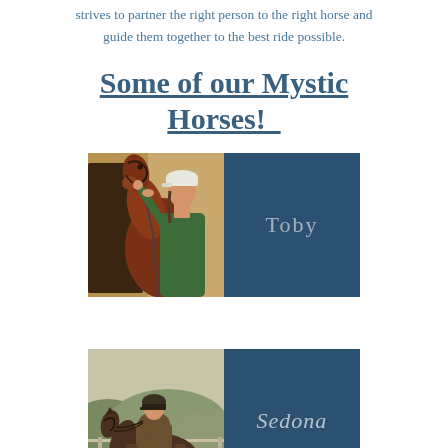strives to partner the right person to the right horse and guide them together to the best ride possible.
Some of our Mystic Horses!
[Figure (photo): A woman in a white cap kissing a chestnut horse on the nose, standing in front of a stable. Beside the photo is a dark blue panel with the text 'Toby' in light font.]
[Figure (photo): A rider on horseback in an outdoor arena with hills in the background. Beside the photo is a dark blue panel with the italic text 'Sedona' in light font.]